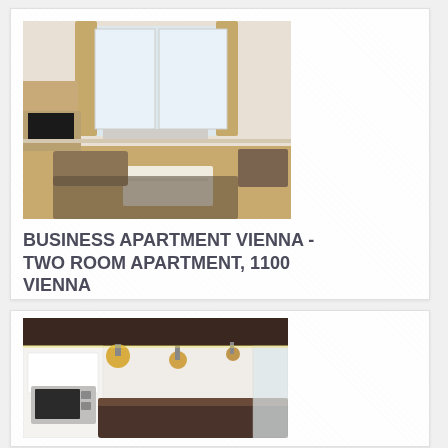[Figure (photo): Interior photo of a living room with wooden flooring, sofa, TV unit, and large window with curtains - Business Apartment Vienna]
BUSINESS APARTMENT VIENNA - TWO ROOM APARTMENT, 1100 VIENNA
1 Bedroom Price per Month: € 1265
MORE
[Figure (photo): Interior photo of a modern kitchen with pendant lights, microwave, and kitchen island bar]